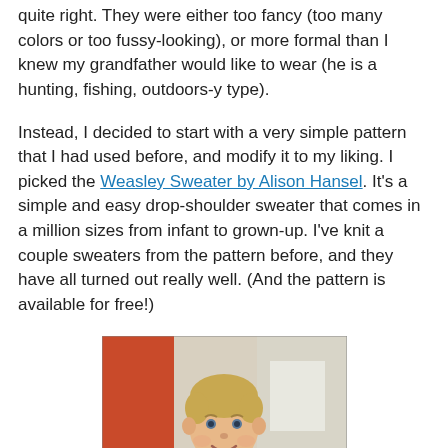quite right.  They were either too fancy (too many colors or too fussy-looking), or more formal than I knew my grandfather would like to wear (he is a hunting, fishing, outdoors-y type).
Instead, I decided to start with a very simple pattern that I had used before, and modify it to my liking.  I picked the Weasley Sweater by Alison Hansel.  It's a simple and easy drop-shoulder sweater that comes in a million sizes from infant to grown-up.  I've knit a couple sweaters from the pattern before, and they have all turned out really well.  (And the pattern is available for free!)
[Figure (photo): A young blonde boy smiling, wearing a navy blue knitted sweater with what appears to be a letter or design on the front, standing in front of an orange and white background.]